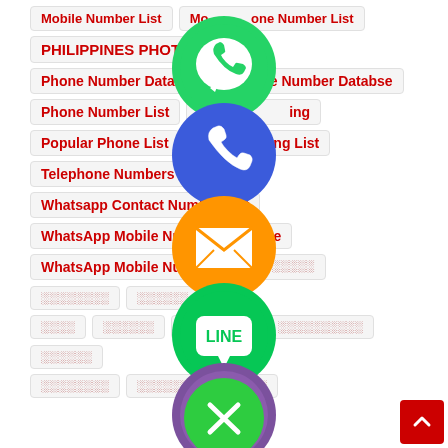Mobile Number List
Mobile Phone Number List
PHILIPPINES PHOTO EDITOR
Phone Number Database
Phone Number Databse
Phone Number List
Phone Marketing
Popular Phone List
Telemarketing List
Telephone Numbers List
Whatsapp Contact Number List
WhatsApp Mobile Number Database
WhatsApp Mobile Number List
[Figure (illustration): Social media / messaging app icons overlaid: WhatsApp (green), Phone/Viber (blue), Email (orange), LINE (green), Viber (purple), Close (green X)]